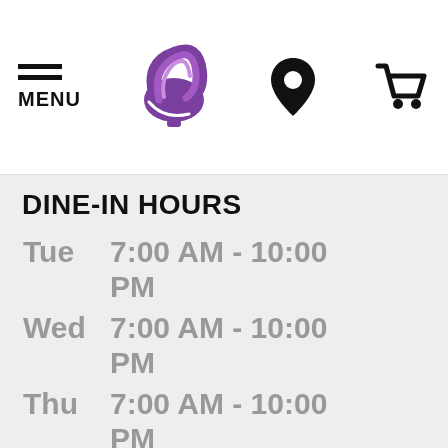MENU | Taco Bell Logo | Location Icon | Cart Icon
DINE-IN HOURS
| Day | Hours |
| --- | --- |
| Tue | 7:00 AM - 10:00 PM |
| Wed | 7:00 AM - 10:00 PM |
| Thu | 7:00 AM - 10:00 PM |
| Fri | 7:00 AM - 10:00 PM |